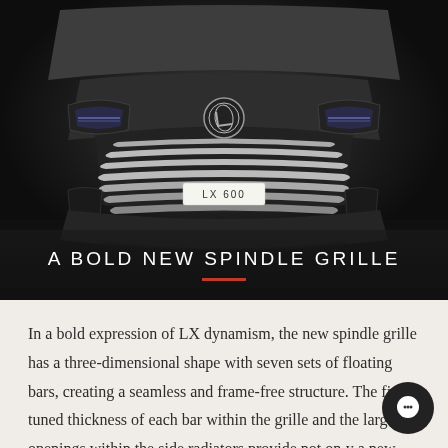[Figure (photo): Front view of a Lexus LX 600 SUV showing the bold spindle grille design with chrome bars against a dark background. The license plate area reads 'LX 600'.]
A BOLD NEW SPINDLE GRILLE
In a bold expression of LX dynamism, the new spindle grille has a three-dimensional shape with seven sets of floating bars, creating a seamless and frame-free structure. The fine-tuned thickness of each bar within the grille and the large openings within the side radiators provide not only a new look, but the high-level cooling